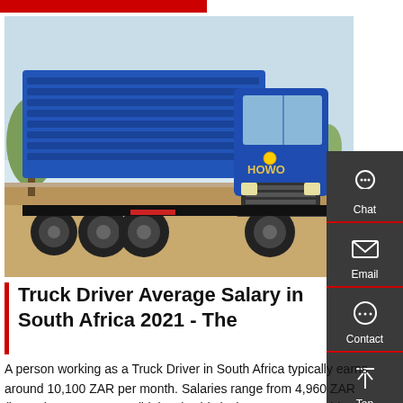[Figure (photo): Blue HOWO dump truck parked on dirt ground with trees and light sky in background. Sidebar with chat, email, contact, top icons on the right.]
Truck Driver Average Salary in South Africa 2021 - The
A person working as a Truck Driver in South Africa typically earns around 10,100 ZAR per month. Salaries range from 4,960 ZAR (lowest) to 15,800 ZAR (highest). This is the average monthly salary...